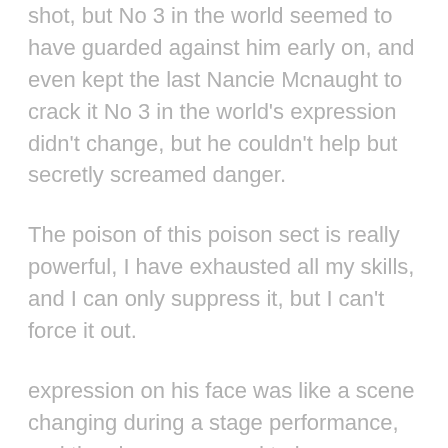shot, but No 3 in the world seemed to have guarded against him early on, and even kept the last Nancie Mcnaught to crack it No 3 in the world's expression didn't change, but he couldn't help but secretly screamed danger.
The poison of this poison sect is really powerful, I have exhausted all my skills, and I can only suppress it, but I can't force it out.
expression on his face was like a scene changing during a stage performance, and the change seemed to be a different person Well, what are you waiting for? Michele Latson- no! It's time to call him Luz Mischke.
Ge' Duowu, I am afraid that only a master who has lived